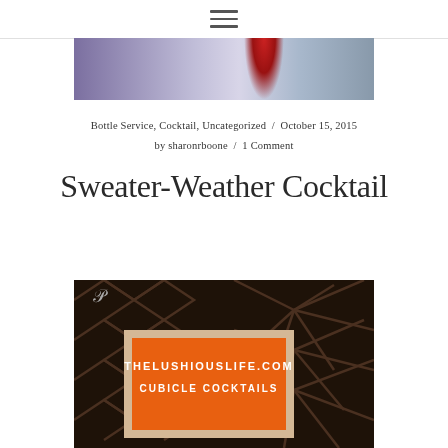≡ (hamburger menu icon)
[Figure (photo): Hero image showing a cocktail glass with red liquid against a blurred purple/blue background]
Bottle Service, Cocktail, Uncategorized / October 15, 2015
by sharonrboone / 1 Comment
Sweater-Weather Cocktail
[Figure (photo): Photo of an orange letter board in a wooden frame displaying 'THELUSHIOUSLIFE.COM CUBICLE COCKTAILS' against a dark chevron patterned wall background. Pinterest icon visible in top left corner.]